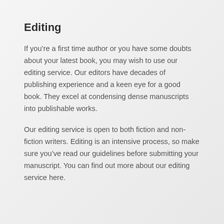Editing
If you’re a first time author or you have some doubts about your latest book, you may wish to use our editing service. Our editors have decades of publishing experience and a keen eye for a good book. They excel at condensing dense manuscripts into publishable works.
Our editing service is open to both fiction and non-fiction writers. Editing is an intensive process, so make sure you’ve read our guidelines before submitting your manuscript. You can find out more about our editing service here.